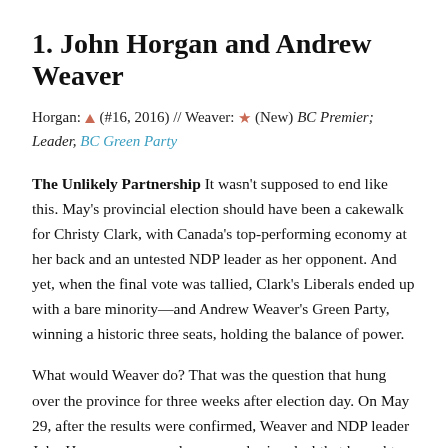1. John Horgan and Andrew Weaver
Horgan: ▲ (#16, 2016) // Weaver: ★ (New) BC Premier; Leader, BC Green Party
The Unlikely Partnership It wasn't supposed to end like this. May's provincial election should have been a cakewalk for Christy Clark, with Canada's top-performing economy at her back and an untested NDP leader as her opponent. And yet, when the final vote was tallied, Clark's Liberals ended up with a bare minority—and Andrew Weaver's Green Party, winning a historic three seats, holding the balance of power.
What would Weaver do? That was the question that hung over the province for three weeks after election day. On May 29, after the results were confirmed, Weaver and NDP leader John Horgan announced a power-sharing deal that brought an end to 16 years of Liberal Party rule.